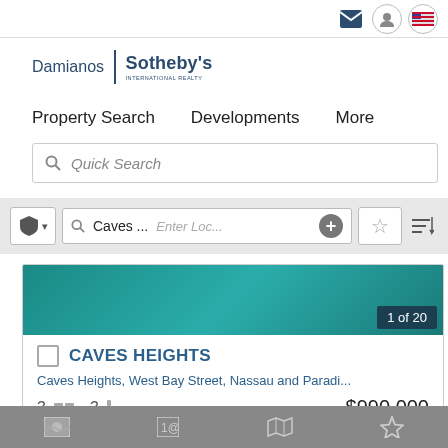Damianos | Sotheby's INTERNATIONAL REALTY
Property Search   Developments   More
Quick Search
Caves ...   Enter Loc...
CAVES HEIGHTS
Caves Heights, West Bay Street, Nassau and Paradi...
3 beds  3 baths  $990,000
1 of 20